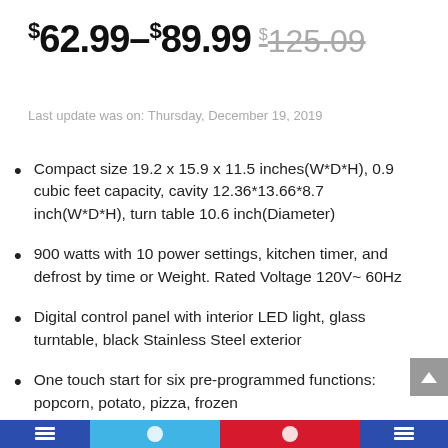$62.99–$89.99 $125.09
Last update was on: Thursday, December 19, 2019
Compact size 19.2 x 15.9 x 11.5 inches(W*D*H), 0.9 cubic feet capacity, cavity 12.36*13.66*8.7 inch(W*D*H), turn table 10.6 inch(Diameter)
900 watts with 10 power settings, kitchen timer, and defrost by time or Weight. Rated Voltage 120V~ 60Hz
Digital control panel with interior LED light, glass turntable, black Stainless Steel exterior
One touch start for six pre-programmed functions: popcorn, potato, pizza, frozen